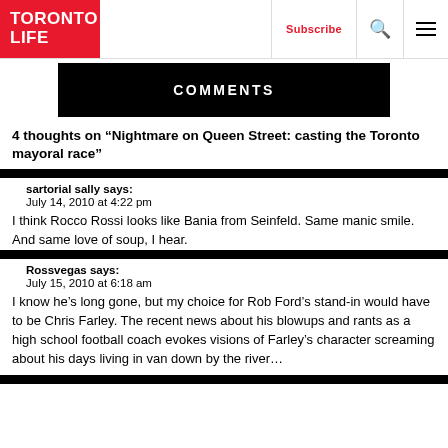TORONTO LIFE | Subscribe | [search] [menu]
[Figure (other): COMMENTS banner — black background with white bold text 'COMMENTS' in all caps]
4 thoughts on “Nightmare on Queen Street: casting the Toronto mayoral race”
sartorial sally says:
July 14, 2010 at 4:22 pm
I think Rocco Rossi looks like Bania from Seinfeld. Same manic smile. And same love of soup, I hear.
Rossvegas says:
July 15, 2010 at 6:18 am
I know he’s long gone, but my choice for Rob Ford’s stand-in would have to be Chris Farley. The recent news about his blowups and rants as a high school football coach evokes visions of Farley’s character screaming about his days living in van down by the river…